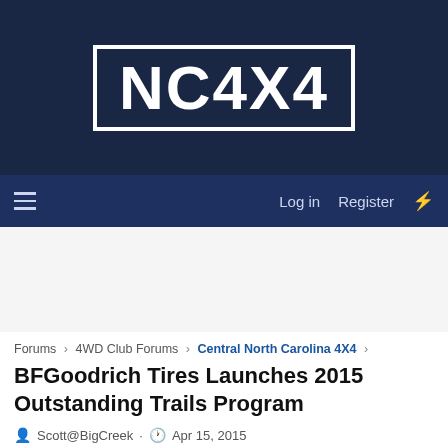[Figure (logo): NC4x4 logo — white bold text on dark navy background with white border rectangle]
≡  Log in  Register  ⚡
Forums › 4WD Club Forums › Central North Carolina 4X4 ›
BFGoodrich Tires Launches 2015 Outstanding Trails Program
Scott@BigCreek · Apr 15, 2015
Scott@BigCreek   Joined: Dec 13, 2010